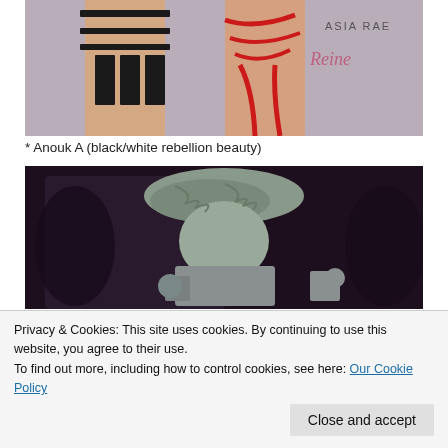[Figure (illustration): Two digital fashion figures wearing strappy lingerie outfits, one in black straps and one in red straps, with text 'ASIA RAE' and cursive 'Reine' visible on a grey background.]
* Anouk A (black/white rebellion beauty)
[Figure (illustration): A 3D rendered grey sculpture or figurine showing a character with braided hair and mechanical/armored body parts, on a dark background.]
Privacy & Cookies: This site uses cookies. By continuing to use this website, you agree to their use.
To find out more, including how to control cookies, see here: Our Cookie Policy